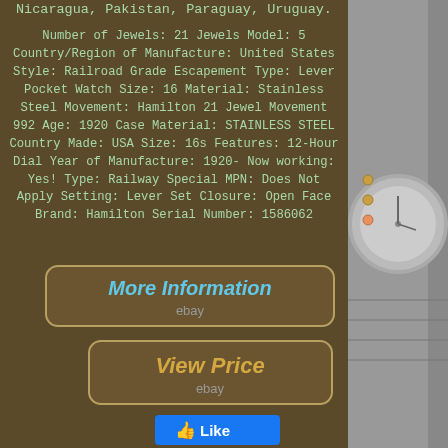Nicaragua, Pakistan, Paraguay, Uruguay.
Number of Jewels: 21 Jewels Model: 5 Country/Region of Manufacture: United States Style: Railroad Grade Escapement Type: Lever Pocket Watch Size: 16 Material: Stainless Steel Movement: Hamilton 21 Jewel Movement 992 Age: 1920 Case Material: STAINLESS STEEL Country Made: USA Size: 16s Features: 12-Hour Dial Year of Manufacture: 1920- Now working: Yes! Type: Railway Special MPN: Does Not Apply Setting: Lever Set Closure: Open Face Brand: Hamilton Serial Number: 1586062
[Figure (screenshot): Green rounded-rectangle button with text 'More Information' and 'ebay' label below, on dark brown background]
[Figure (screenshot): Gold/tan rounded-rectangle button with text 'View Price' and 'ebay' label below, on dark brown background]
[Figure (screenshot): Facebook Like button in blue with thumbs up icon and 'Like' text]